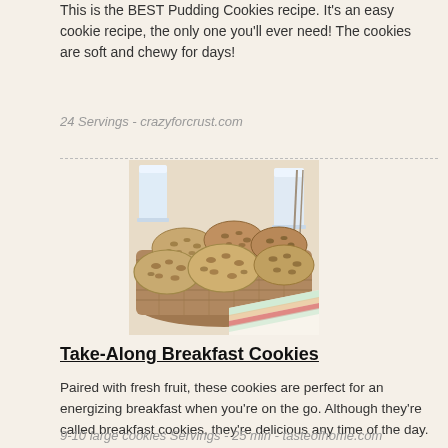This is the BEST Pudding Cookies recipe. It's an easy cookie recipe, the only one you'll ever need! The cookies are soft and chewy for days!
24 Servings - crazyforcrust.com
[Figure (photo): A basket of oatmeal/seeded breakfast cookies with a striped cloth napkin and glasses of milk in the background]
Take-Along Breakfast Cookies
Paired with fresh fruit, these cookies are perfect for an energizing breakfast when you're on the go. Although they're called breakfast cookies, they're delicious any time of the day.
9-10 large cookies Servings - 25 min - tasteofhome.com